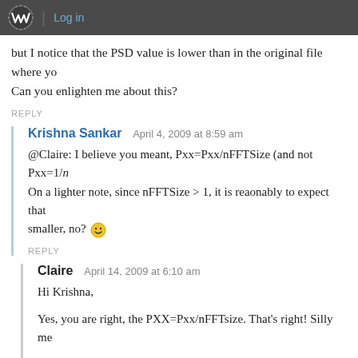WordPress toolbar with logo and Log in link
but I notice that the PSD value is lower than in the original file where yo
Can you enlighten me about this?
REPLY
Krishna Sankar   April 4, 2009 at 8:59 am
@Claire: I believe you meant, Pxx=Pxx/nFFTSize (and not Pxx=1/n
On a lighter note, since nFFTSize > 1, it is reaonably to expect that
smaller, no? 🙂
REPLY
Claire   April 14, 2009 at 6:10 am
Hi Krishna,

Yes, you are right, the PXX=Pxx/nFFTsize. That's right! Silly me

I am wondering what is the different between windowing and filt
shape the signals to particular setting. After clipping, we can us